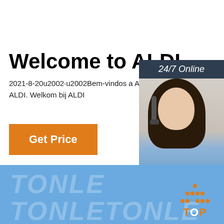Welcome to ALDI
2021-8-20u2002·u2002Bem-vindos a ALDI. Welkom bij ALDI
Get Price
[Figure (photo): 24/7 Online banner with a woman wearing a headset, with 'Click here for free chat!' and a QUOTATION button]
[Figure (logo): Blue banner with TONLE watermark text and TOP logo with orange dots in triangular pattern]